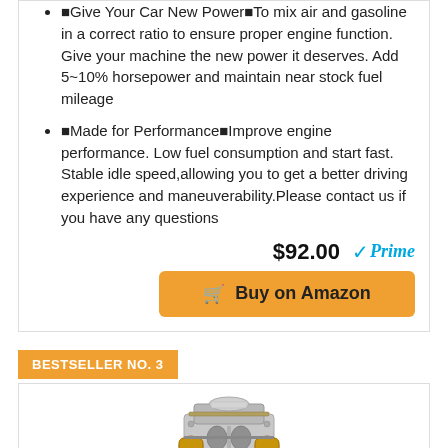🔴Give Your Car New Power🔴To mix air and gasoline in a correct ratio to ensure proper engine function. Give your machine the new power it deserves. Add 5~10% horsepower and maintain near stock fuel mileage
🔴Made for Performance🔴Improve engine performance. Low fuel consumption and start fast. Stable idle speed,allowing you to get a better driving experience and maneuverability.Please contact us if you have any questions
$92.00 ✓Prime
Buy on Amazon
BESTSELLER NO. 3
[Figure (photo): Carburetor product photo showing a silver/chrome carburetor with brass fittings]